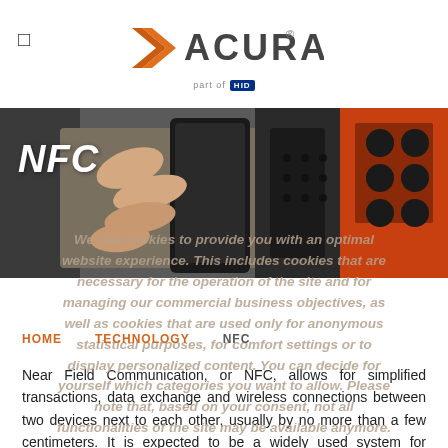ACURA part of HID
[Figure (photo): A hand holding a smartphone near a black card reader device, with an orange vending machine in the background. White text 'NFC' overlaid on the left side of the image.]
We use cookies to provide you with an optimal website experience. This includes cookies that are necessary for the operation of the site and for managing our commercial business objectives, as well as cookies that are used only for anonymous statistical purposes, for comfort settings or to display personalized content. You can decide for yourself which categories you want to allow. Please note that, based on your consent, not all functionalities of the site may be available anymore.
HOME  TECHNOLOGY  NFC
Near Field Communication, or NFC, allows for simplified transactions, data exchange and wireless connections between two devices next to each other, usually by no more than a few centimeters. It is expected to be a widely used system for smartphone payments. Many smartphones on the market today already contain built-in NFC chips that send encrypted data at a short